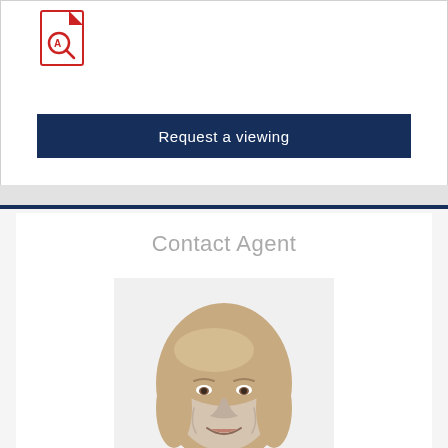[Figure (other): Red PDF file icon]
Request a viewing
Contact Agent
[Figure (photo): Black and white headshot photo of a woman with blonde hair, smiling]